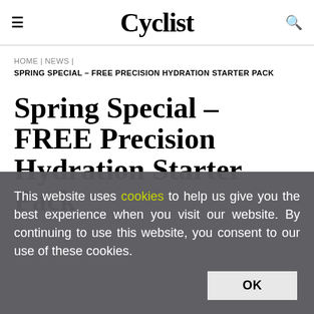Cyclist
HOME | NEWS | SPRING SPECIAL – FREE PRECISION HYDRATION STARTER PACK
Spring Special – FREE Precision Hydration Starter Pack
This website uses cookies to help us give you the best experience when you visit our website. By continuing to use this website, you consent to our use of these cookies.